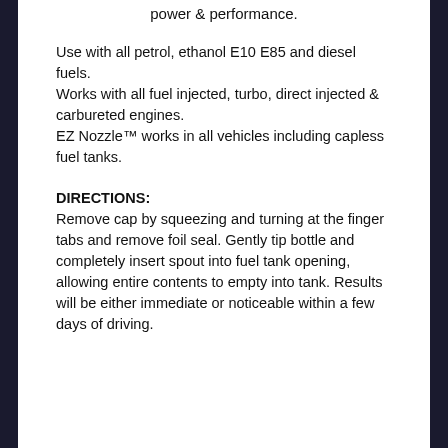power & performance.
Use with all petrol, ethanol E10 E85 and diesel fuels.
Works with all fuel injected, turbo, direct injected & carbureted engines.
EZ Nozzle™ works in all vehicles including capless fuel tanks.
DIRECTIONS:
Remove cap by squeezing and turning at the finger tabs and remove foil seal. Gently tip bottle and completely insert spout into fuel tank opening, allowing entire contents to empty into tank. Results will be either immediate or noticeable within a few days of driving.